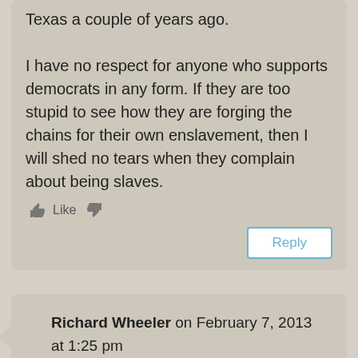Texas a couple of years ago.

I have no respect for anyone who supports democrats in any form. If they are too stupid to see how they are forging the chains for their own enslavement, then I will shed no tears when they complain about being slaves.
Reply
Richard Wheeler on February 7, 2013 at 1:25 pm